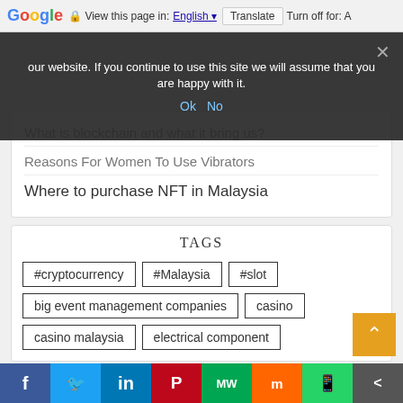Google Translate bar: View this page in: English | Translate | Turn off for: A
our website. If you continue to use this site we will assume that you are happy with it.
What is blockchain and what it bring us?
Reasons For Women To Use Vibrators
Ok  No
Where to purchase NFT in Malaysia
TAGS
#cryptocurrency
#Malaysia
#slot
big event management companies
casino
casino malaysia
electrical component
Social share bar: Facebook, Twitter, LinkedIn, Pinterest, MeWe, Mix, WhatsApp, Share